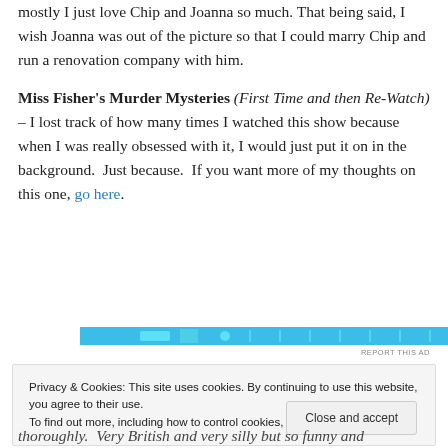mostly I just love Chip and Joanna so much. That being said, I wish Joanna was out of the picture so that I could marry Chip and run a renovation company with him.
Miss Fisher's Murder Mysteries (First Time and then Re-Watch) – I lost track of how many times I watched this show because when I was really obsessed with it, I would just put it on in the background. Just because. If you want more of my thoughts on this one, go here.
[Figure (other): Horizontal blue advertisement banner]
REPORT THIS AD
Privacy & Cookies: This site uses cookies. By continuing to use this website, you agree to their use.
To find out more, including how to control cookies, see here: Cookie Policy
thoroughly.  Very British and very silly but so funny and